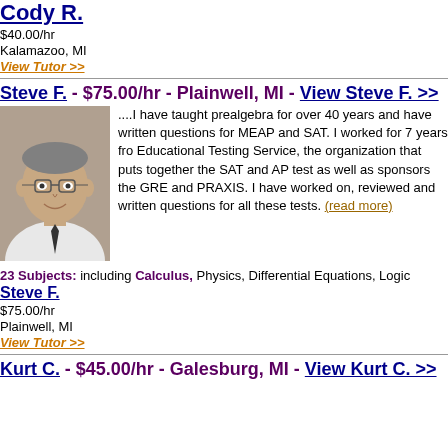Cody R.
$40.00/hr
Kalamazoo, MI
View Tutor >>
Steve F. - $75.00/hr - Plainwell, MI - View Steve F. >>
[Figure (photo): Headshot photo of tutor Steve F., an older man with glasses wearing a white shirt]
....I have taught prealgebra for over 40 years and have written questions for MEAP and SAT. I worked for 7 years fro Educational Testing Service, the organization that puts together the SAT and AP test as well as sponsors the GRE and PRAXIS. I have worked on, reviewed and written questions for all these tests. (read more)
23 Subjects: including Calculus, Physics, Differential Equations, Logic
Steve F.
$75.00/hr
Plainwell, MI
View Tutor >>
Kurt C. - $45.00/hr - Galesburg, MI - View Kurt C. >>